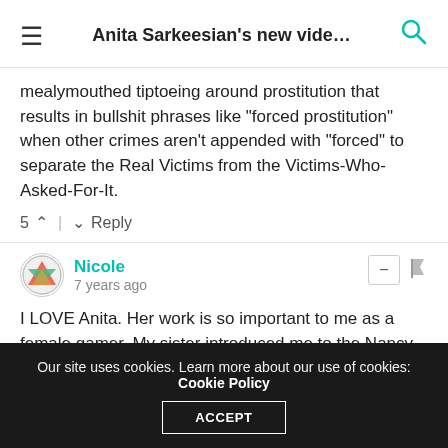Anita Sarkeesian's new vide…
mealymouthed tiptoeing around prostitution that results in bullshit phrases like "forced prostitution" when other crimes aren't appended with "forced" to separate the Real Victims from the Victims-Who-Asked-For-It.
5 ^ | v Reply
Nicole · 7 years ago
I LOVE Anita. Her work is so important to me as a female gamer. My sister introduced me to the Nancy Drew games as they don't degrade women. I also love Skyrim and think they did a pretty good job. In Skyrim, your character is not treated differently for being a woman and the armor is real armor, not bikinis. Your character can also be gay. I can't wait for the sixth
Our site uses cookies. Learn more about our use of cookies: Cookie Policy ACCEPT